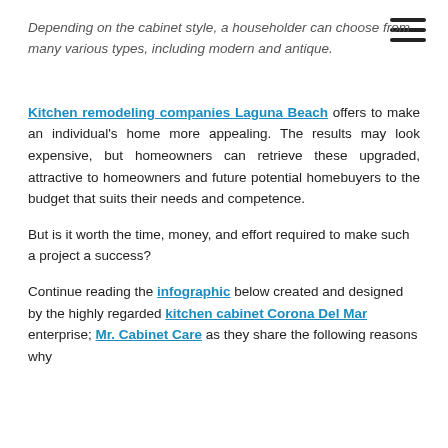Depending on the cabinet style, a householder can choose from many various types, including modern and antique.
Kitchen remodeling companies Laguna Beach offers to make an individual's home more appealing. The results may look expensive, but homeowners can retrieve these upgraded, attractive to homeowners and future potential homebuyers to the budget that suits their needs and competence.
But is it worth the time, money, and effort required to make such a project a success?
Continue reading the infographic below created and designed by the highly regarded kitchen cabinet Corona Del Mar enterprise; Mr. Cabinet Care as they share the following reasons why